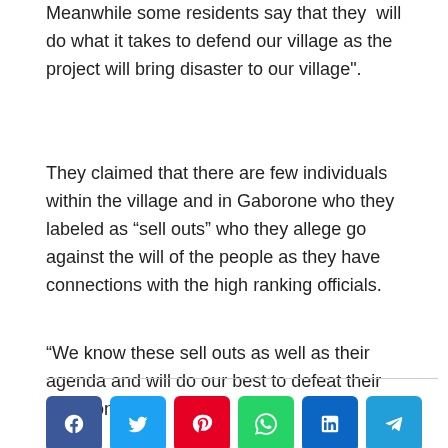Meanwhile some residents say that they 'will do what it takes to defend our village as the project will bring disaster to our village".
They claimed that there are few individuals within the village and in Gaborone who they labeled as “sell outs” who they allege go against the will of the people as they have connections with the high ranking officials.
“We know these sell outs as well as their agenda and will do our best to defeat their intentions.”
[Figure (other): Social media share buttons: Facebook, Twitter, Pinterest, WhatsApp, LinkedIn, Telegram]